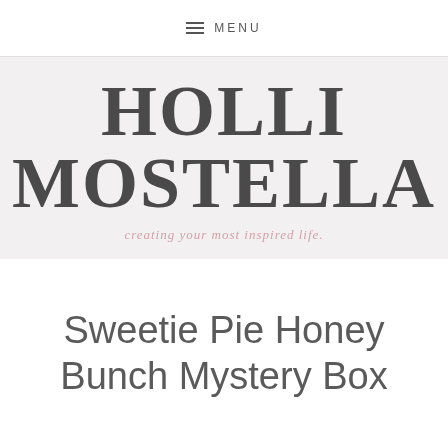MENU
HOLLI MOSTELLA
creating your most inspired life.
Sweetie Pie Honey Bunch Mystery Box